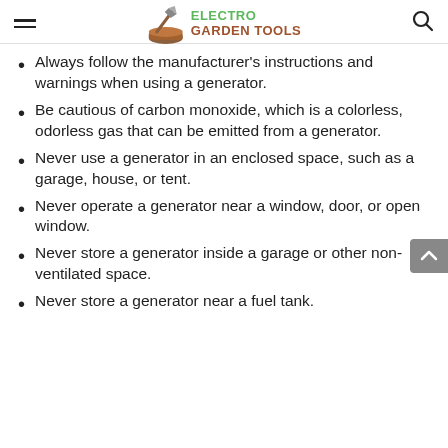ELECTRO GARDEN TOOLS
Always follow the manufacturer's instructions and warnings when using a generator.
Be cautious of carbon monoxide, which is a colorless, odorless gas that can be emitted from a generator.
Never use a generator in an enclosed space, such as a garage, house, or tent.
Never operate a generator near a window, door, or open window.
Never store a generator inside a garage or other non-ventilated space.
Never store a generator near a fuel tank.